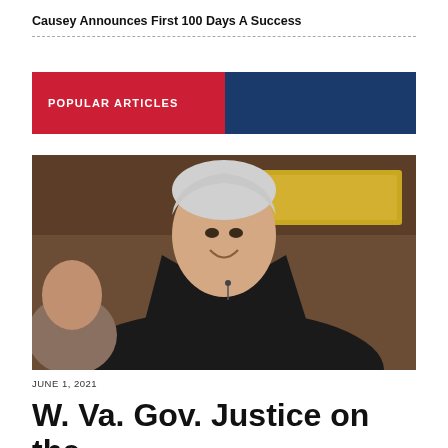Causey Announces First 100 Days A Success
POPULAR ARTICLES
[Figure (photo): A man with white hair wearing a black suit and red striped tie, smiling, seated at what appears to be a legislative chamber desk with wooden paneling and a yellow sign in the background.]
JUNE 1, 2021
W. Va. Gov. Justice on the